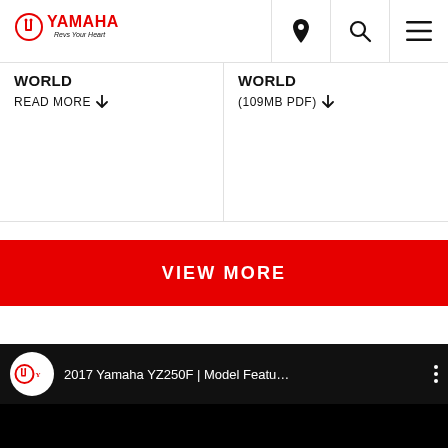[Figure (logo): Yamaha logo with 'Revs Your Heart' tagline]
WORLD
READ MORE ↓
WORLD
(109MB PDF) ↓
VIEW MORE
[Figure (screenshot): YouTube video embed showing '2017 Yamaha YZ250F | Model Featu...' with Yamaha logo circle and three-dot menu]